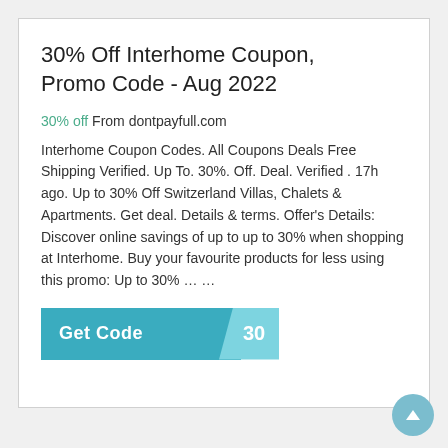30% Off Interhome Coupon, Promo Code - Aug 2022
30% off From dontpayfull.com
Interhome Coupon Codes. All Coupons Deals Free Shipping Verified. Up To. 30%. Off. Deal. Verified . 17h ago. Up to 30% Off Switzerland Villas, Chalets & Apartments. Get deal. Details & terms. Offer's Details: Discover online savings of up to up to 30% when shopping at Interhome. Buy your favourite products for less using this promo: Up to 30% ... ...
[Figure (other): Get Code button with teal background and lighter teal tab showing '30']